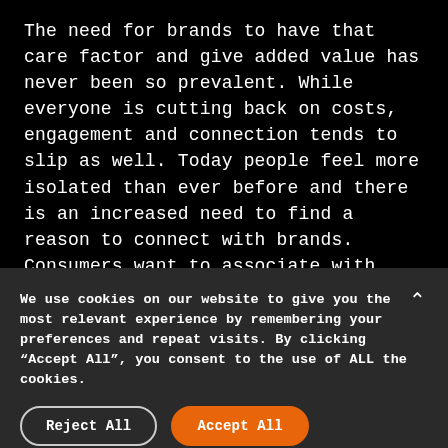The need for brands to have that care factor and give added value has never been so prevalent. While everyone is cutting back on costs, engagement and connection tends to slip as well. Today people feel more isolated than ever before and there is an increased need to find a reason to connect with brands. Consumers want to associate with brands that go the extra mile and add value to the end customer, thus establishing brand loyalty in the long run.
We use cookies on our website to give you the most relevant experience by remembering your preferences and repeat visits. By clicking “Accept All”, you consent to the use of ALL the cookies.